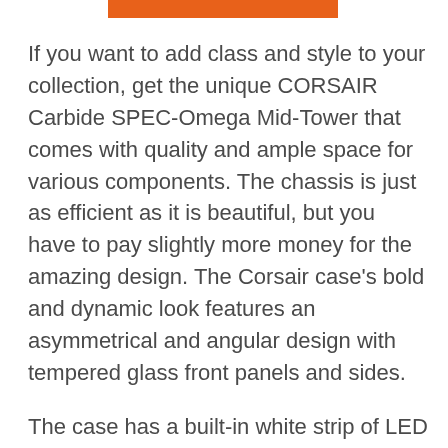[Figure (other): Orange horizontal bar decorative element at top of page]
If you want to add class and style to your collection, get the unique CORSAIR Carbide SPEC-Omega Mid-Tower that comes with quality and ample space for various components. The chassis is just as efficient as it is beautiful, but you have to pay slightly more money for the amazing design. The Corsair case's bold and dynamic look features an asymmetrical and angular design with tempered glass front panels and sides.
The case has a built-in white strip of LED